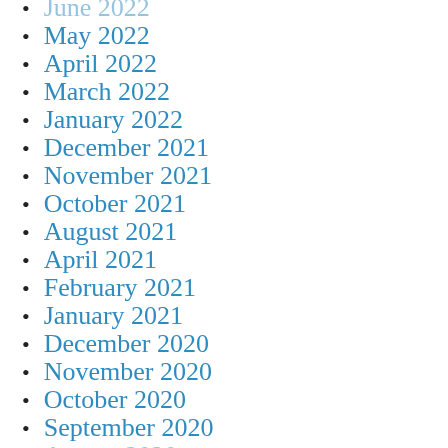June 2022
May 2022
April 2022
March 2022
January 2022
December 2021
November 2021
October 2021
August 2021
April 2021
February 2021
January 2021
December 2020
November 2020
October 2020
September 2020
August 2020